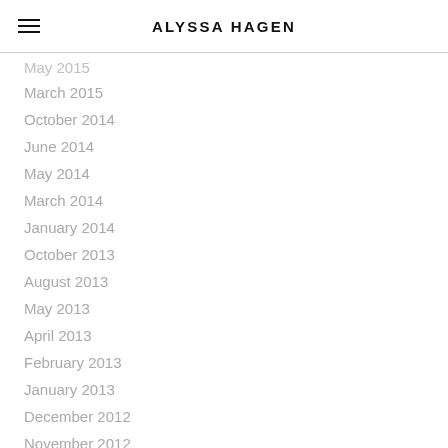ALYSSA HAGEN
May 2015
March 2015
October 2014
June 2014
May 2014
March 2014
January 2014
October 2013
August 2013
May 2013
April 2013
February 2013
January 2013
December 2012
November 2012
September 2012
June 2012
May 2012